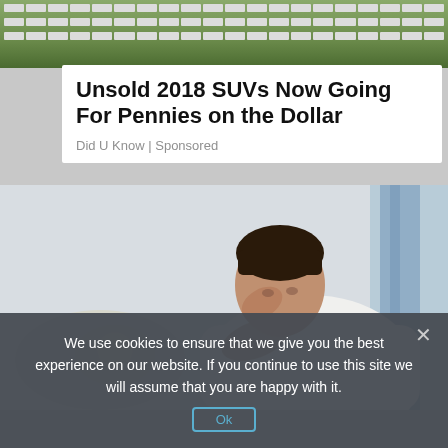[Figure (photo): Aerial view of a large parking lot filled with rows of white SUVs and vehicles]
Unsold 2018 SUVs Now Going For Pennies on the Dollar
Did U Know | Sponsored
[Figure (photo): A man in a white t-shirt sitting on a bed with his head in his hand, looking stressed or worried, with a window with blue curtains in the background]
We use cookies to ensure that we give you the best experience on our website. If you continue to use this site we will assume that you are happy with it.